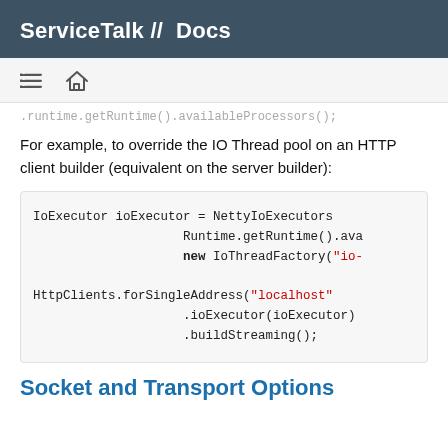ServiceTalk //  Docs
.runtime.getRuntime().availableProcessors();
For example, to override the IO Thread pool on an HTTP client builder (equivalent on the server builder):
IoExecutor ioExecutor = NettyIoExecutors
                        Runtime.getRuntime().ava
                        new IoThreadFactory("io-

HttpClients.forSingleAddress("localhost"
                        .ioExecutor(ioExecutor)
                        .buildStreaming();
Socket and Transport Options